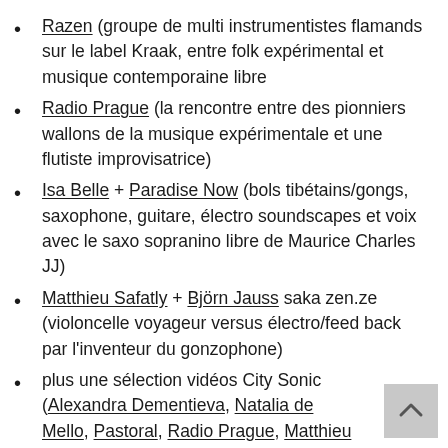Razen (groupe de multi instrumentistes flamands sur le label Kraak, entre folk expérimental et musique contemporaine libre
Radio Prague (la rencontre entre des pionniers wallons de la musique expérimentale et une flutiste improvisatrice)
Isa Belle + Paradise Now (bols tibétains/gongs, saxophone, guitare, électro soundscapes et voix avec le saxo sopranino libre de Maurice Charles JJ)
Matthieu Safatly + Björn Jauss saka zen.ze (violoncelle voyageur versus électro/feed back par l'inventeur du gonzophone)
plus une sélection vidéos City Sonic (Alexandra Dementieva, Natalia de Mello, Pastoral, Radio Prague, Matthieu Safatly…)
petit salon de producteurs audio